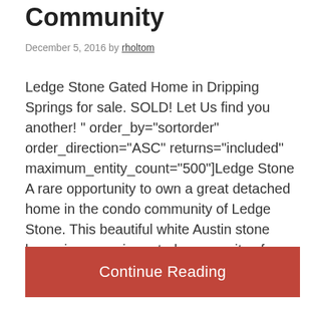Community
December 5, 2016 by rholtom
Ledge Stone Gated Home in Dripping Springs for sale. SOLD! Let Us find you another! " order_by="sortorder" order_direction="ASC" returns="included" maximum_entity_count="500"]Ledge Stone A rare opportunity to own a great detached home in the condo community of Ledge Stone. This beautiful white Austin stone home in a premier gated community of Ledgestone Condo's features: Open
Continue Reading